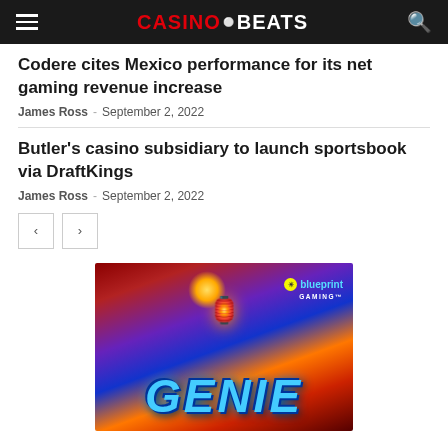CASINOBEATS
Codere cites Mexico performance for its net gaming revenue increase
James Ross – September 2, 2022
Butler's casino subsidiary to launch sportsbook via DraftKings
James Ross – September 2, 2022
[Figure (photo): Blueprint Gaming Genie promotional banner image with genie lamp and Genie text]